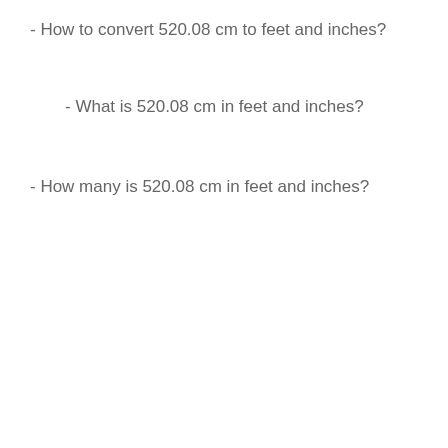- How to convert 520.08 cm to feet and inches?
- What is 520.08 cm in feet and inches?
- How many is 520.08 cm in feet and inches?